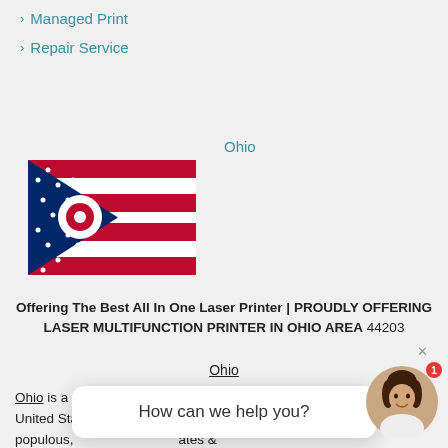Managed Print
Repair Service
Ohio
[Figure (illustration): Ohio state flag — a pennant-shaped flag with blue triangle containing white stars and a circular O symbol, flanked by red and white horizontal stripes]
Offering The Best All In One Laser Printer | PROUDLY OFFERING LASER MULTIFUNCTION PRINTER IN OHIO AREA 44203
Ohio
Ohio is a state in the East North Central region of the Midwest United States. Of the fifty sta... the st populous, ates &